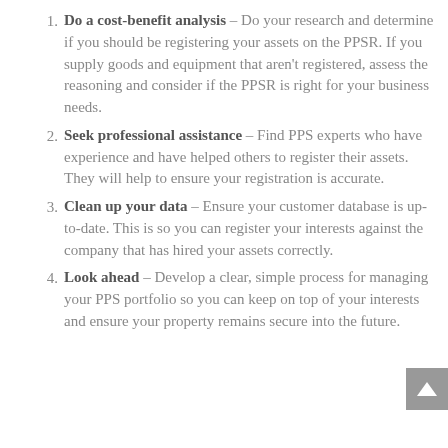1. Do a cost-benefit analysis – Do your research and determine if you should be registering your assets on the PPSR. If you supply goods and equipment that aren't registered, assess the reasoning and consider if the PPSR is right for your business needs.
2. Seek professional assistance – Find PPS experts who have experience and have helped others to register their assets. They will help to ensure your registration is accurate.
3. Clean up your data – Ensure your customer database is up-to-date. This is so you can register your interests against the company that has hired your assets correctly.
4. Look ahead – Develop a clear, simple process for managing your PPS portfolio so you can keep on top of your interests and ensure your property remains secure into the future.